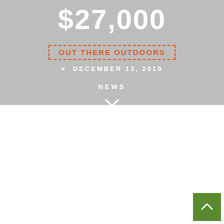$27,000
OUT THERE OUTDOORS
× DECEMBER 13, 2010
NEWS
[Figure (other): Chevron/down-arrow icon in white]
[Figure (other): Green back-to-top button with upward chevron arrow]